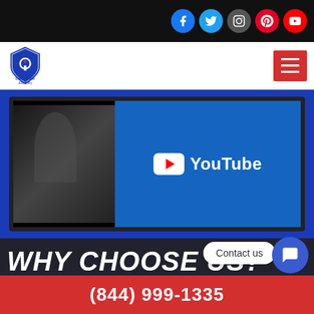Social media icons: Facebook, Twitter, Instagram, Pinterest, YouTube
[Figure (logo): Locksmith & Security logo with shield icon and hamburger menu button]
[Figure (screenshot): YouTube video thumbnail embedded in blue section showing a person near a door]
WHY CHOOSE US?
Contact us
(844) 999-1335